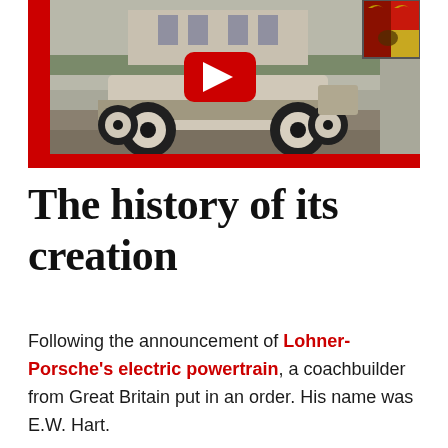[Figure (photo): A YouTube video thumbnail showing a vintage Lohner-Porsche electric car (early 1900s) on a gravel path with buildings in background. YouTube play button overlay in center. Red YouTube branding bar on left and bottom. Porsche crest logo in top-right corner.]
The history of its creation
Following the announcement of Lohner-Porsche's electric powertrain, a coachbuilder from Great Britain put in an order. His name was E.W. Hart.